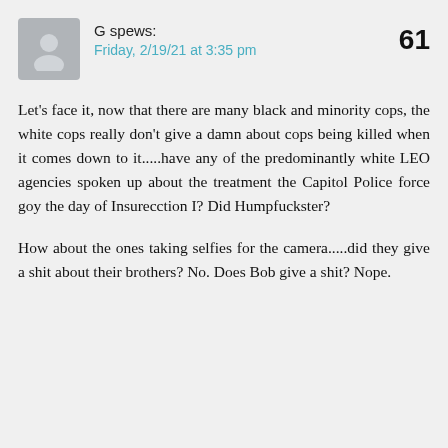[Figure (illustration): Gray avatar/silhouette icon of a person]
G spews:
Friday, 2/19/21 at 3:35 pm
61
Let's face it, now that there are many black and minority cops, the white cops really don't give a damn about cops being killed when it comes down to it.....have any of the predominantly white LEO agencies spoken up about the treatment the Capitol Police force goy the day of Insurecction I? Did Humpfuckster?
How about the ones taking selfies for the camera.....did they give a shit about their brothers? No. Does Bob give a shit? Nope.